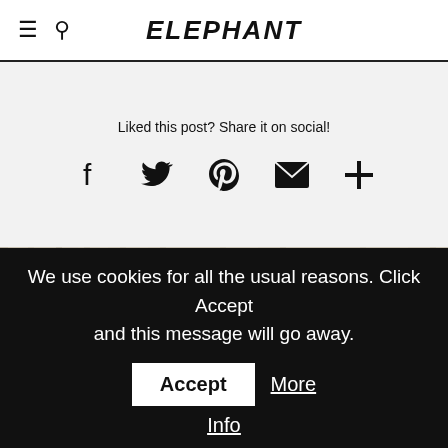ELEPHANT
Liked this post? Share it on social!
[Figure (infographic): Social share icons: Facebook, Twitter, Pinterest, Email, More (+)]
[Figure (photo): Photo of a golden/gold-draped structure or coffin with media photographers visible in background against white curtain backdrop]
We use cookies for all the usual reasons. Click Accept and this message will go away. Accept More Info